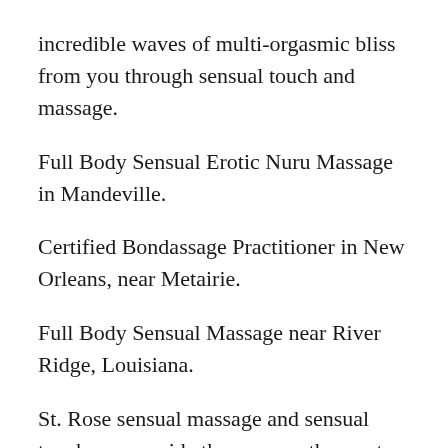incredible waves of multi-orgasmic bliss from you through sensual touch and massage.
Full Body Sensual Erotic Nuru Massage in Mandeville.
Certified Bondassage Practitioner in New Orleans, near Metairie.
Full Body Sensual Massage near River Ridge, Louisiana.
St. Rose sensual massage and sensual touch can provide the many pathways to sexual